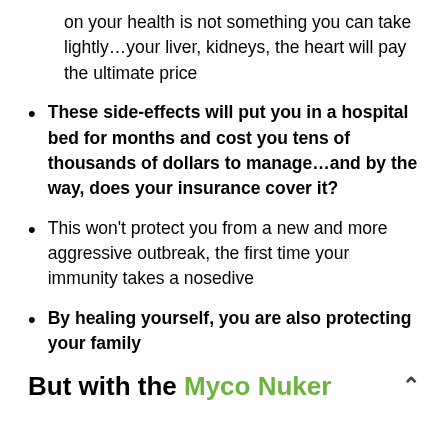on your health is not something you can take lightly…your liver, kidneys, the heart will pay the ultimate price
These side-effects will put you in a hospital bed for months and cost you tens of thousands of dollars to manage…and by the way, does your insurance cover it?
This won't protect you from a new and more aggressive outbreak, the first time your immunity takes a nosedive
By healing yourself, you are also protecting your family
But with the Myco Nuker